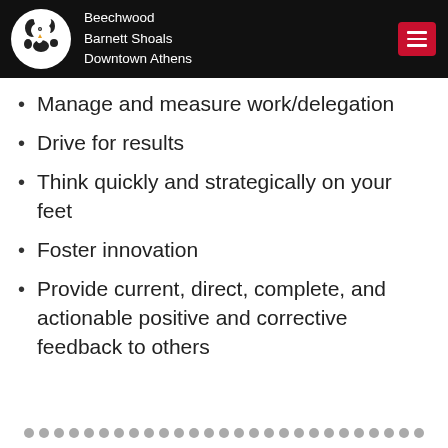Beechwood Barnett Shoals Downtown Athens
Manage and measure work/delegation
Drive for results
Think quickly and strategically on your feet
Foster innovation
Provide current, direct, complete, and actionable positive and corrective feedback to others